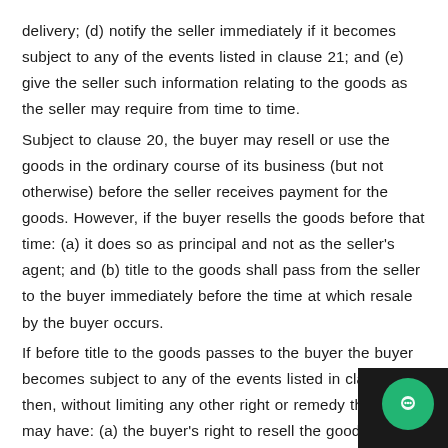delivery; (d) notify the seller immediately if it becomes subject to any of the events listed in clause 21; and (e) give the seller such information relating to the goods as the seller may require from time to time.
Subject to clause 20, the buyer may resell or use the goods in the ordinary course of its business (but not otherwise) before the seller receives payment for the goods. However, if the buyer resells the goods before that time: (a) it does so as principal and not as the seller's agent; and (b) title to the goods shall pass from the seller to the buyer immediately before the time at which resale by the buyer occurs.
If before title to the goods passes to the buyer the buyer becomes subject to any of the events listed in clause 20, then, without limiting any other right or remedy the seller may have: (a) the buyer's right to resell the goods or use them in the ordinary course of its business ceases immediately; and the seller may at any time: require the buyer to deliver up